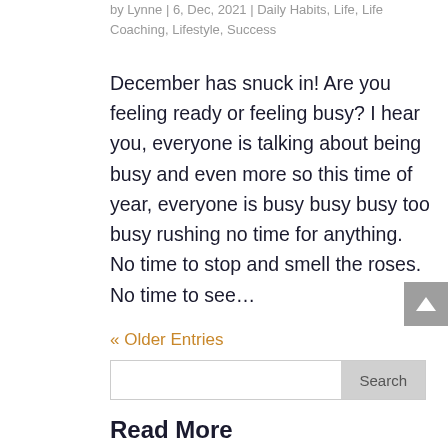by Lynne | 6, Dec, 2021 | Daily Habits, Life, Life Coaching, Lifestyle, Success
December has snuck in! Are you feeling ready or feeling busy? I hear you, everyone is talking about being busy and even more so this time of year, everyone is busy busy busy too busy rushing no time for anything.  No time to stop and smell the roses.   No time to see…
« Older Entries
Search
Read More